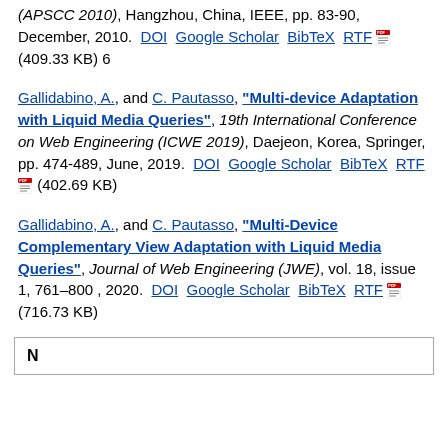(APSCC 2010), Hangzhou, China, IEEE, pp. 83-90, December, 2010.  DOI  Google Scholar  BibTeX  RTF  (409.33 KB) 6
Gallidabino, A., and C. Pautasso, "Multi-device Adaptation with Liquid Media Queries", 19th International Conference on Web Engineering (ICWE 2019), Daejeon, Korea, Springer, pp. 474-489, June, 2019.  DOI  Google Scholar  BibTeX  RTF  (402.69 KB)
Gallidabino, A., and C. Pautasso, "Multi-Device Complementary View Adaptation with Liquid Media Queries", Journal of Web Engineering (JWE), vol. 18, issue 1, 761–800 , 2020.  DOI  Google Scholar  BibTeX  RTF  (716.73 KB)
N